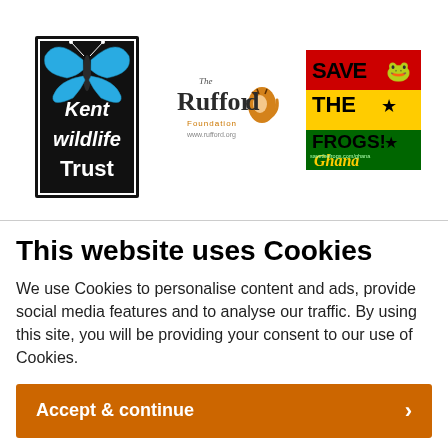[Figure (logo): Kent Wildlife Trust logo - black rectangle with blue butterfly and white text 'Kent wildlife Trust']
[Figure (logo): The Rufford Foundation logo with tiger illustration and website www.rufford.org]
[Figure (logo): Save The Frogs! Ghana logo - red, yellow, green Rastafarian colors]
This website uses Cookies
We use Cookies to personalise content and ads, provide social media features and to analyse our traffic. By using this site, you will be providing your consent to our use of Cookies.
Accept & continue